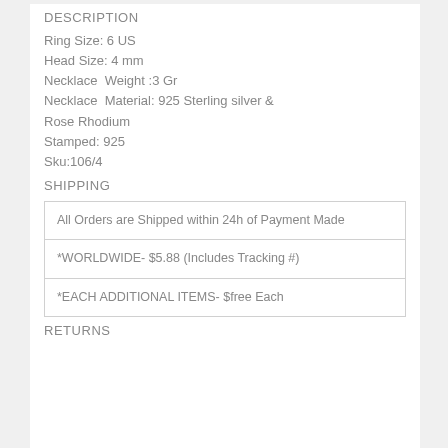DESCRIPTION
Ring Size: 6 US
Head Size: 4 mm
Necklace  Weight :3 Gr
Necklace  Material: 925 Sterling silver & Rose Rhodium
Stamped: 925
Sku:106/4
SHIPPING
| All Orders are Shipped within 24h of Payment Made |
| *WORLDWIDE- $5.88 (Includes Tracking #) |
| *EACH ADDITIONAL ITEMS- $free Each |
RETURNS